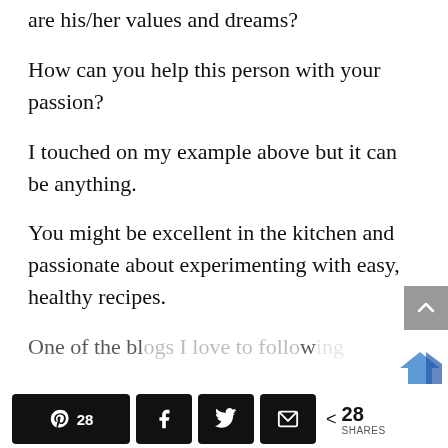are his/her values and dreams?
How can you help this person with your passion?
I touched on my example above but it can be anything.
You might be excellent in the kitchen and passionate about experimenting with easy, healthy recipes.
One of the bl...
Pinterest 28 | Facebook | Twitter | Email | < 28 SHARES